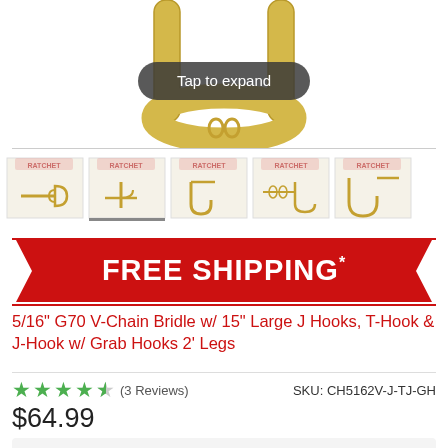[Figure (photo): Product image of V-Chain Bridle with J Hooks, partially visible from above with 'Tap to expand' overlay button]
[Figure (photo): Row of 5 product thumbnail images showing different angles of the V-Chain Bridle]
[Figure (infographic): FREE SHIPPING* red chevron/pennant banner]
5/16" G70 V-Chain Bridle w/ 15" Large J Hooks, T-Hook & J-Hook w/ Grab Hooks 2' Legs
★★★★☆ (3 Reviews)    SKU: CH5162V-J-TJ-GH
$64.99
Buy 10 for $63.49 each and save 3%
Buy 50 for $61.99 each and save 5%